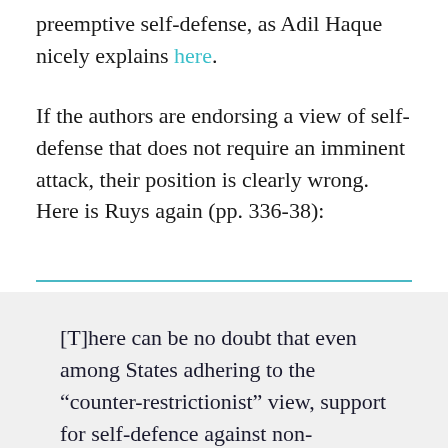preemptive self-defense, as Adil Haque nicely explains here.
If the authors are endorsing a view of self-defense that does not require an imminent attack, their position is clearly wrong. Here is Ruys again (pp. 336-38):
[T]here can be no doubt that even among States adhering to the “counter-restrictionist” view, support for self-defence against non-imminent threats is virtually non-existent. Apart from the fact that the sponsors of Operation “Iraqi Freedom”